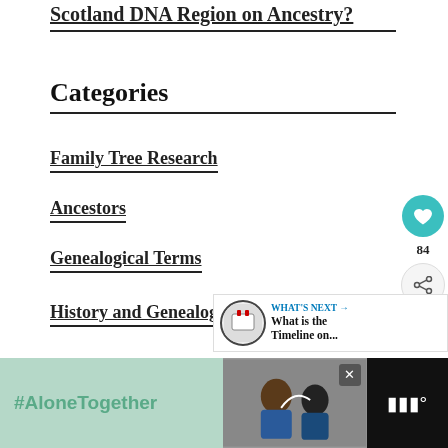Scotland DNA Region on Ancestry?
Categories
Family Tree Research
Ancestors
Genealogical Terms
History and Genealogy
Searching for Biological Fami…
[Figure (infographic): Social sidebar with heart/like button showing 84 likes and a share button]
[Figure (infographic): What's Next banner: What is the Timeline on...]
[Figure (infographic): Advertisement banner: #AloneTogether with photo of people and a logo]